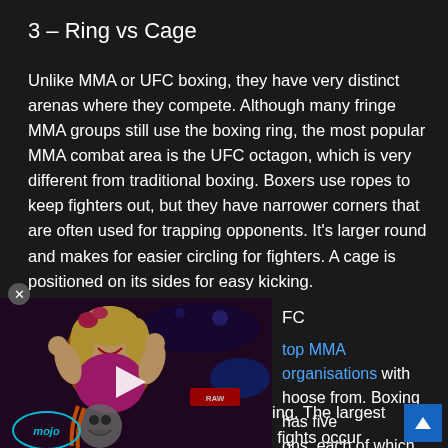3 – Ring vs Cage
Unlike MMA or UFC boxing, they have very distinct arenas where they compete. Although many fringe MMA groups still use the boxing ring, the most popular MMA combat area is the UFC octagon, which is very different from traditional boxing. Boxers use ropes to keep fighters out, but they have narrower corners that are often used for trapping opponents. It's larger round and makes for easier circling for fighters. A cage is positioned on its sides for easy kicking.
[Figure (screenshot): Video thumbnail showing a woman at a wrestling/MMA event with a play button overlay and WatchMojo logo]
FC top MMA organisations with hoose from. Boxing has five ons, each of which has a world championship in professional boxing. The largest effect is in the area in which large fights occur because UFC has more than half of the top and most experienced fighters and can